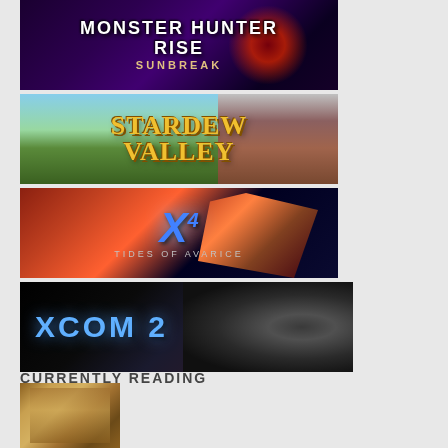[Figure (screenshot): Monster Hunter Rise: Sunbreak game banner with dark purple background and red dragon elements]
[Figure (screenshot): Stardew Valley game banner with colorful farm scene and yellow logo text]
[Figure (screenshot): X4: Tides of Avarice game banner with blue X logo and spaceship]
[Figure (screenshot): XCOM 2 game banner with blue logo text and alien face]
CURRENTLY READING
[Figure (photo): Book cover thumbnail - partially visible at bottom of page]